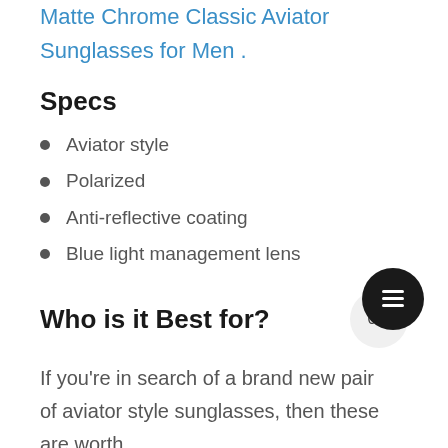Matte Chrome Classic Aviator Sunglasses for Men .
Specs
Aviator style
Polarized
Anti-reflective coating
Blue light management lens
Who is it Best for?
If you're in search of a brand new pair of aviator style sunglasses, then these are worth